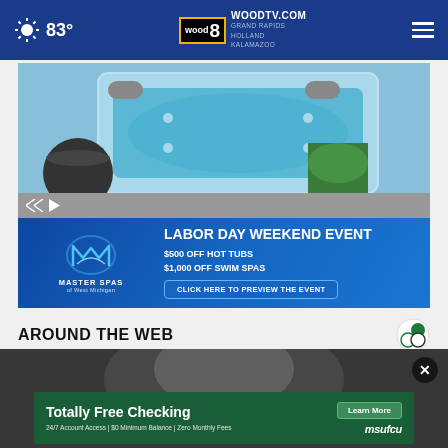83° | WOODTV.COM | WOOD 8 | GRAND RAPIDS | HOLLAND | KALAMAZOO
[Figure (photo): Master Spas advertisement showing a hot tub from above with patio furniture; overlay reads LABOR DAY WEEKEND EVENT $500 OFF HOT TUBS $1,000 OFF SWIM SPAS CLICK HERE TO PREVIEW THE EVENT]
AROUND THE WEB
[Figure (photo): Partial image of a person with blond/grey hair, overlaid with MSUFCU advertisement: Totally Free Checking - 24/7 Account Access | $0 Minimum Balance | Zero Monthly Fees - Learn More - msufcu]